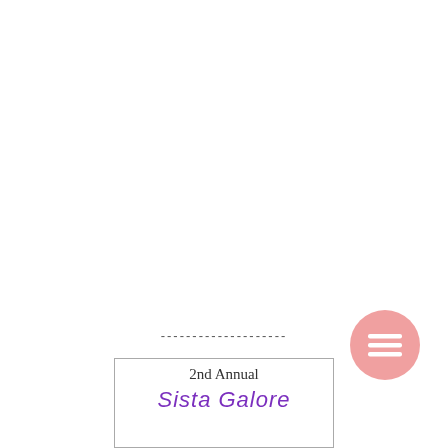--------------------
[Figure (illustration): A pink circular button with a hamburger menu (three horizontal lines) icon, positioned in the lower right of the page.]
[Figure (illustration): A partial view of a card or flyer reading '2nd Annual' in gray serif text and 'Sista Galore' in large purple hand-drawn style lettering, bordered by a thin rectangle.]